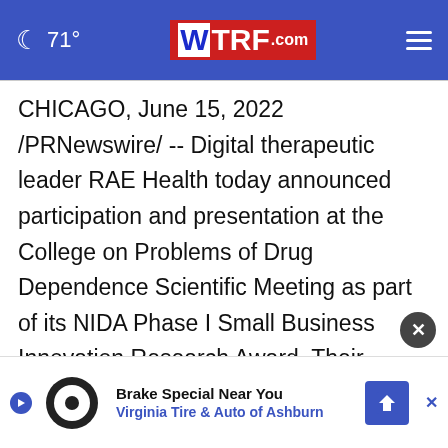🌙 71° | WTRF.com
CHICAGO, June 15, 2022 /PRNewswire/ -- Digital therapeutic leader RAE Health today announced participation and presentation at the College on Problems of Drug Dependence Scientific Meeting as part of its NIDA Phase I Small Business Innovation Research Award. Their presentation titled "A digital detection and intervention for individuals in recovery from subst[ance use disorder]... integr[ating]...
[Figure (screenshot): Advertisement overlay: Brake Special Near You - Virginia Tire & Auto of Ashburn, with close button (×) and navigation arrow icon]